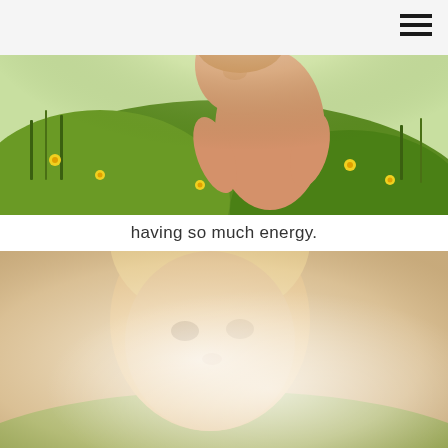[Figure (photo): Young child outdoors in a sunny flower meadow, bending forward, yellow flowers and green grass in background, bright natural light]
having so much energy.
[Figure (photo): Overexposed close-up portrait of a young child's face outdoors in bright sunlight, blond hair, warm tones]